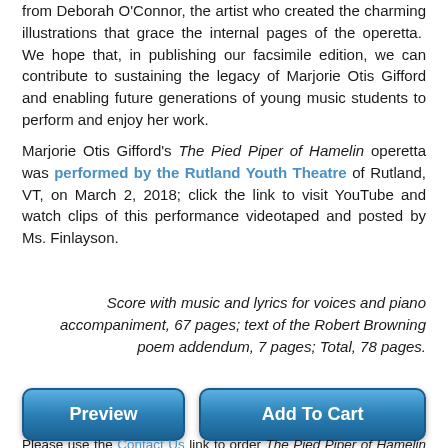from Deborah O'Connor, the artist who created the charming illustrations that grace the internal pages of the operetta. We hope that, in publishing our facsimile edition, we can contribute to sustaining the legacy of Marjorie Otis Gifford and enabling future generations of young music students to perform and enjoy her work.
Marjorie Otis Gifford's The Pied Piper of Hamelin operetta was performed by the Rutland Youth Theatre of Rutland, VT, on March 2, 2018; click the link to visit YouTube and watch clips of this performance videotaped and posted by Ms. Finlayson.
Score with music and lyrics for voices and piano accompaniment, 67 pages; text of the Robert Browning poem addendum, 7 pages; Total, 78 pages.
[Figure (other): Two blue rounded buttons labeled Preview and Add To Cart]
Please use the Contact Us link to order The Pied Piper of Hamelin operetta PDF. Upon receiving your request, we will send you an invoice via PayPal and, once PayPal acknowledges receiving your payment, we will email a copy of the PDF to you directly.